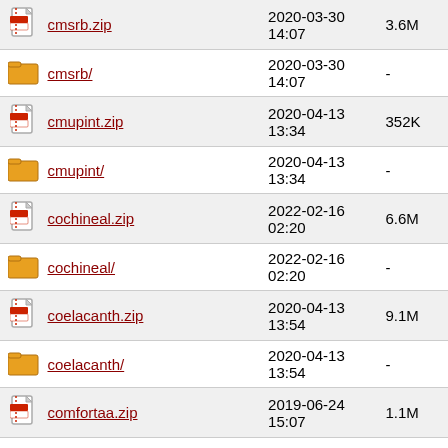|  | Name | Date | Size |
| --- | --- | --- | --- |
| [zip] | cmsrb.zip | 2020-03-30 14:07 | 3.6M |
| [dir] | cmsrb/ | 2020-03-30 14:07 | - |
| [zip] | cmupint.zip | 2020-04-13 13:34 | 352K |
| [dir] | cmupint/ | 2020-04-13 13:34 | - |
| [zip] | cochineal.zip | 2022-02-16 02:20 | 6.6M |
| [dir] | cochineal/ | 2022-02-16 02:20 | - |
| [zip] | coelacanth.zip | 2020-04-13 13:54 | 9.1M |
| [dir] | coelacanth/ | 2020-04-13 13:54 | - |
| [zip] | comfortaa.zip | 2019-06-24 15:07 | 1.1M |
| [dir] | comfortaa/ | 2019-06-24 15:07 | - |
| [zip] | comicneue.zip | 2020-04-26 12:02 | 1.4M |
| [dir] | (partial) | 2020-04-26 | - |